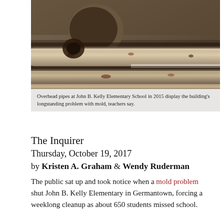[Figure (photo): Overhead pipes at John B. Kelly Elementary School showing deterioration and mold]
Overhead pipes at John B. Kelly Elementary School in 2015 display the building's longstanding problem with mold, teachers say.
The Inquirer
Thursday, October 19, 2017
by Kristen A. Graham & Wendy Ruderman
The public sat up and took notice when a mold problem shut John B. Kelly Elementary in Germantown, forcing a weeklong cleanup as about 650 students missed school.